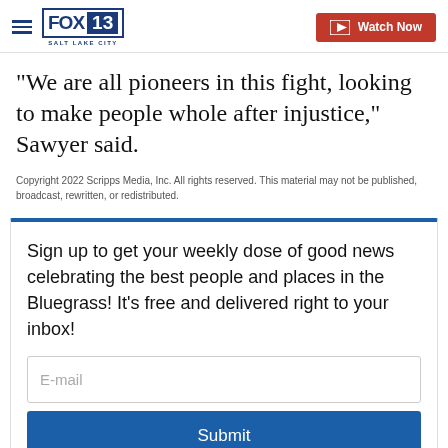FOX 13 Salt Lake City | Watch Now
"We are all pioneers in this fight, looking to make people whole after injustice," Sawyer said.
Copyright 2022 Scripps Media, Inc. All rights reserved. This material may not be published, broadcast, rewritten, or redistributed.
Sign up to get your weekly dose of good news celebrating the best people and places in the Bluegrass! It's free and delivered right to your inbox!
E-mail
Submit